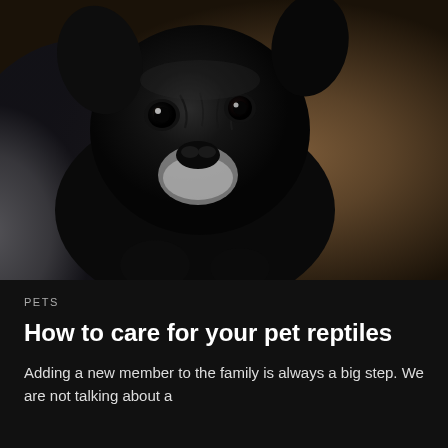[Figure (photo): Close-up photo of a black French Bulldog looking up at the camera with tilted head, against a blurred warm brown background]
PETS
How to care for your pet reptiles
Adding a new member to the family is always a big step. We are not talking about a